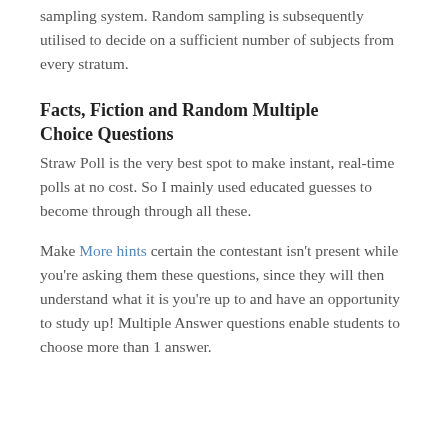sampling system. Random sampling is subsequently utilised to decide on a sufficient number of subjects from every stratum.
Facts, Fiction and Random Multiple Choice Questions
Straw Poll is the very best spot to make instant, real-time polls at no cost. So I mainly used educated guesses to become through through all these.
Make More hints certain the contestant isn't present while you're asking them these questions, since they will then understand what it is you're up to and have an opportunity to study up! Multiple Answer questions enable students to choose more than 1 answer.